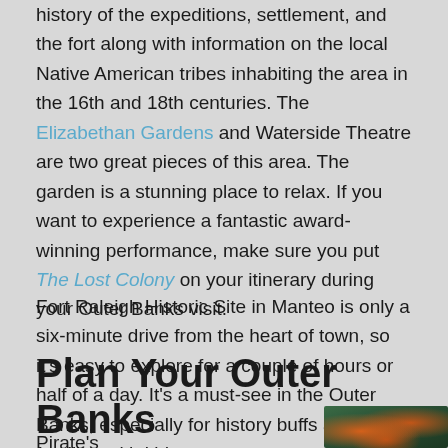history of the expeditions, settlement, and the fort along with information on the local Native American tribes inhabiting the area in the 16th and 18th centuries. The Elizabethan Gardens and Waterside Theatre are two great pieces of this area. The garden is a stunning place to relax. If you want to experience a fantastic award-winning performance, make sure you put The Lost Colony on your itinerary during your Outer Banks visit.
Fort Raleigh Historic Site in Manteo is only a six-minute drive from the heart of town, so it's easy to explore for a couple of hours or half of a day. It's a must-see in the Outer Banks, especially for history buffs and families with kids.
Plan Your Outer Banks Itinerary
Pirate's
[Figure (photo): Blurred photo showing orange flowers/plants against a dark green background]